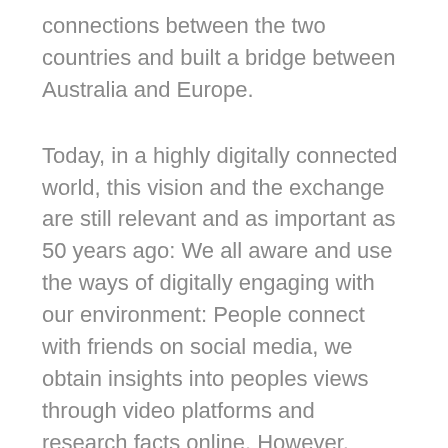connections between the two countries and built a bridge between Australia and Europe.
Today, in a highly digitally connected world, this vision and the exchange are still relevant and as important as 50 years ago: We all aware and use the ways of digitally engaging with our environment: People connect with friends on social media, we obtain insights into peoples views through video platforms and research facts online. However, nothing is more enriching than the personal engagement and direct conversation amongst people. That is why business